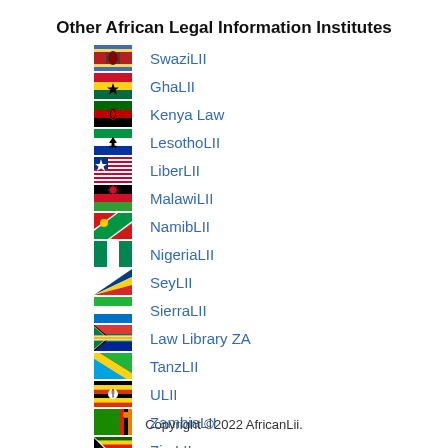Other African Legal Information Institutes
SwaziLII
GhaLII
Kenya Law
LesothoLII
LiberLII
MalawiLII
NamibLII
NigeriaLII
SeyLII
SierraLII
Law Library ZA
TanzLII
ULII
ZambiaLII
ZimLII
Copyright ©2022 AfricanLii.